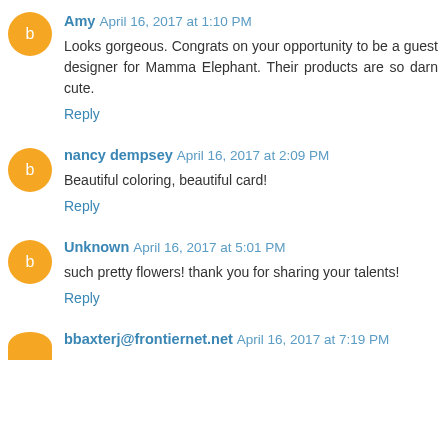Amy April 16, 2017 at 1:10 PM
Looks gorgeous. Congrats on your opportunity to be a guest designer for Mamma Elephant. Their products are so darn cute.
Reply
nancy dempsey April 16, 2017 at 2:09 PM
Beautiful coloring, beautiful card!
Reply
Unknown April 16, 2017 at 5:01 PM
such pretty flowers! thank you for sharing your talents!
Reply
bbaxterj@frontiernet.net April 16, 2017 at 7:19 PM